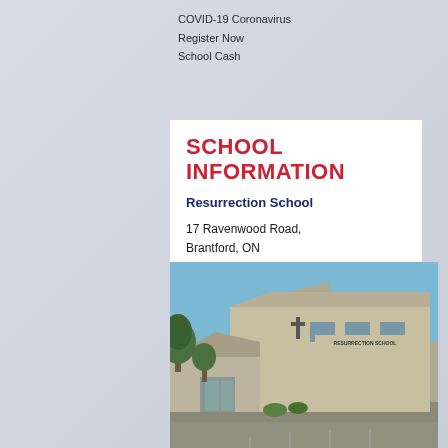COVID-19 Coronavirus
Register Now
School Cash
SCHOOL INFORMATION
Resurrection School
17 Ravenwood Road, Brantford, ON N3R 6L4
Zone: 4
519-752-5900
[Figure (photo): Exterior photograph of Resurrection School building — a beige/tan brick building with sloped roof, cross visible, sign reading RESURRECTION SCHOOL, trees to the left, parking lot in foreground, blue sky above.]